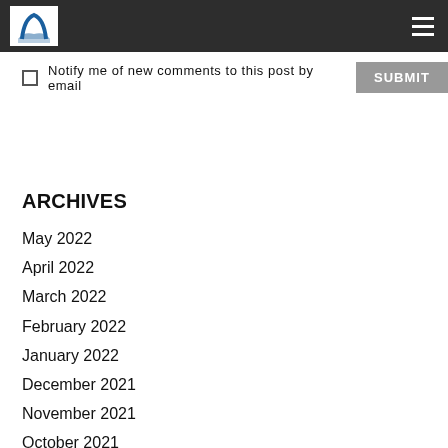[Logo] [Hamburger menu]
Notify me of new comments to this post by email  SUBMIT
ARCHIVES
May 2022
April 2022
March 2022
February 2022
January 2022
December 2021
November 2021
October 2021
September 2021